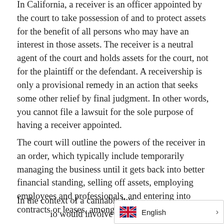In California, a receiver is an officer appointed by the court to take possession of and to protect assets for the benefit of all persons who may have an interest in those assets. The receiver is a neutral agent of the court and holds assets for the court, not for the plaintiff or the defendant. A receivership is only a provisional remedy in an action that seeks some other relief by final judgment. In other words, you cannot file a lawsuit for the sole purpose of having a receiver appointed.
The court will outline the powers of the receiver in an order, which typically include temporarily managing the business until it gets back into better financial standing, selling off assets, employing employees and professionals, and entering into contracts or leases, among other powers.
In the context of a cannabis business, a likely scenario would involve the business defa...